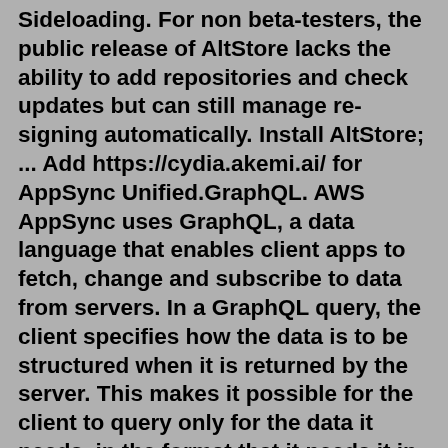Sideloading. For non beta-testers, the public release of AltStore lacks the ability to add repositories and check updates but can still manage re-signing automatically. Install AltStore; ... Add https://cydia.akemi.ai/ for AppSync Unified.GraphQL. AWS AppSync uses GraphQL, a data language that enables client apps to fetch, change and subscribe to data from servers. In a GraphQL query, the client specifies how the data is to be structured when it is returned by the server. This makes it possible for the client to query only for the data it needs, in the format that it needs it in ...Download AltStore Windows and extract the ZIP file, double-click the "setup.exe" file to begin the installation, and follow the on-screen instructions. 2. Connect your iPhone to the computer via USB and trust the device with your computer. 3. Open iTunes and enable iTunes Wi-Fi sync for your iPhone.Please take this tutorial "How to add software source on Apple jailbroken iDevice" as reference. Step2: Please back to "Sources" when it's completed, find and click